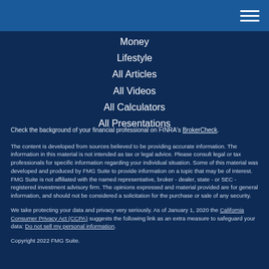Navigation menu header bar
Money
Lifestyle
All Articles
All Videos
All Calculators
All Presentations
Check the background of your financial professional on FINRA's BrokerCheck.
The content is developed from sources believed to be providing accurate information. The information in this material is not intended as tax or legal advice. Please consult legal or tax professionals for specific information regarding your individual situation. Some of this material was developed and produced by FMG Suite to provide information on a topic that may be of interest. FMG Suite is not affiliated with the named representative, broker - dealer, state - or SEC - registered investment advisory firm. The opinions expressed and material provided are for general information, and should not be considered a solicitation for the purchase or sale of any security.
We take protecting your data and privacy very seriously. As of January 1, 2020 the California Consumer Privacy Act (CCPA) suggests the following link as an extra measure to safeguard your data: Do not sell my personal information.
Copyright 2022 FMG Suite.